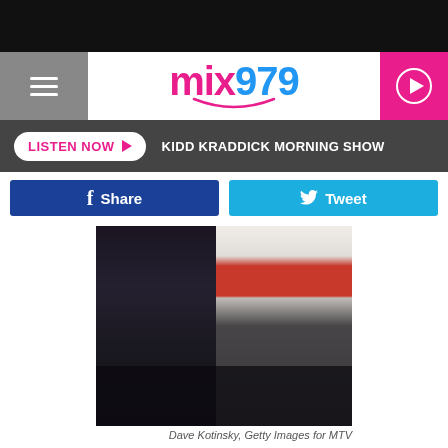[Figure (screenshot): Black top bar of mobile browser/app]
mix979 — LISTEN NOW | KIDD KRADDICK MORNING SHOW
[Figure (photo): Jenni 'JWoww' Farley and Roger Mathews standing together at an event. Jenni wears a black sparkly dress; Roger wears a white graphic t-shirt and distressed jeans with visible tattoos.]
Dave Kotinsky, Getty Images for MTV
Jenni 'JWoww' Farley and Roger Mathews
The Jersey Shore broke off her three year marriage with